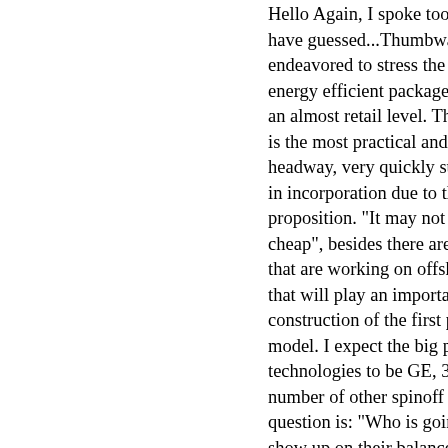Hello Again, I spoke too soon as have guessed...Thumbwax had a endeavored to stress the importa energy efficient packages that ca an almost retail level. The bottom is the most practical and will gai headway, very quickly surpassin in incorporation due to the inate proposition. "It may not be the be cheap", besides there are others that are working on offshoot core that will play an important part in construction of the first productio model. I expect the big players in technologies to be GE, 3M, DuPo number of other spinoff subsidiar question is: "Who is going to allo show up on their balance sheet? the-sky" energy concept may see fetched, so I bet on the big guys small developmental projects tha signed-off by the board. Simply s have to get there first", meaning sector. We have the idea of unlim power for the good of all, but we that if the government gets involv they'll be so much red tape and r we'll get squashed. Design and c